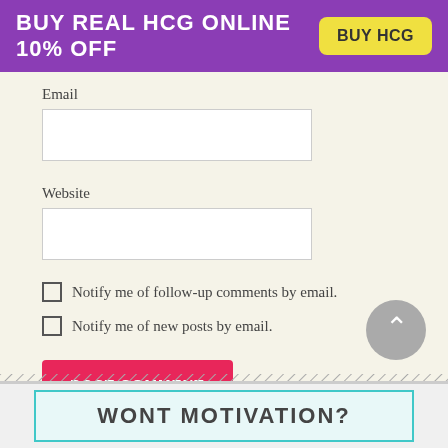[Figure (infographic): Purple banner advertisement: 'BUY REAL HCG ONLINE 10% OFF' with a yellow 'BUY HCG' button on the right]
Email
Website
Notify me of follow-up comments by email.
Notify me of new posts by email.
POST COMMENT
[Figure (infographic): Back-to-top circular gray button with upward chevron arrow]
WONT MOTIVATION?